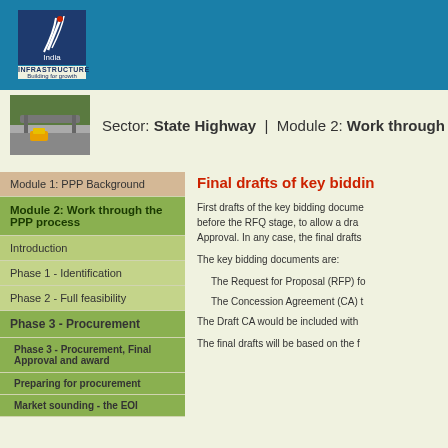India Infrastructure – Building for growth
Sector: State Highway | Module 2: Work through the PPP process
Module 1: PPP Background
Module 2: Work through the PPP process
Introduction
Phase 1 - Identification
Phase 2 - Full feasibility
Phase 3 - Procurement
Phase 3 - Procurement, Final Approval and award
Preparing for procurement
Market sounding - the EOI
Final drafts of key bidding documents
First drafts of the key bidding documents should be prepared before the RFQ stage, to allow a draft to be reviewed before Final Approval. In any case, the final drafts should be ready before the RFP.
The key bidding documents are:
The Request for Proposal (RFP) for
The Concession Agreement (CA) t
The Draft CA would be included with
The final drafts will be based on the f